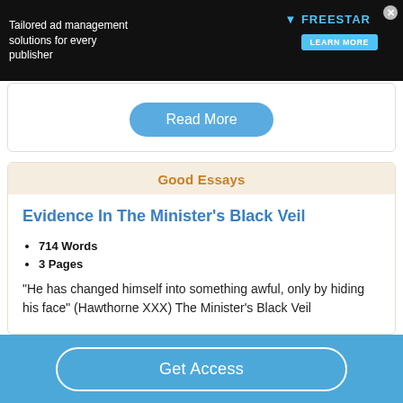[Figure (screenshot): Ad banner for Freestar tailored ad management solutions for every publisher with Learn More button]
Read More
Good Essays
Evidence In The Minister's Black Veil
714 Words
3 Pages
“He has changed himself into something awful, only by hiding his face” (Hawthorne XXX) The Minister’s Black Veil
Get Access